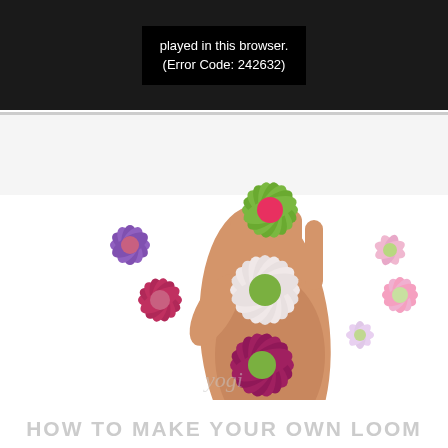[Figure (screenshot): Video player error screen with black background showing error text: 'played in this browser. (Error Code: 242632)']
[Figure (photo): A hand holding three handmade yarn/thread flowers on a loom: green flower on top with pink center, pink/white flower in the middle with green center, and deep magenta/purple flower at the bottom with green center. Several more colorful yarn flowers are visible in the background on a white surface.]
HOW TO MAKE YOUR OWN LOOM